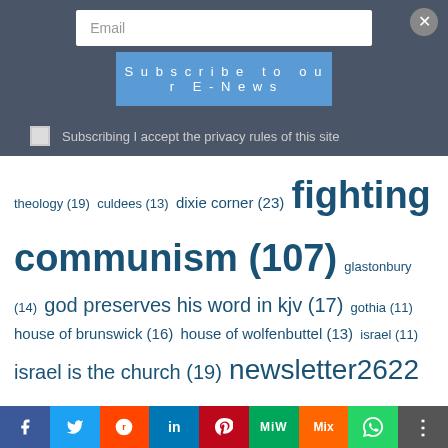Email
Subscribe to our E-News
Subscribing I accept the privacy rules of this site
theology (19) culdees (13) dixie corner (23) fighting communism (107) glastonbury (14) god preserves his word in kjv (17) gothia (11) house of brunswick (16) house of wolfenbuttel (13) israel (11) israel is the church (19) newsletter2622 (23) orthodox celtic church (18) orthodox church (39) orthodox church of the culdees (38) pdf download defending the king james bible (11) priory of salem (12) read book judahs sceptre josephs birthright (26) replacement theology (23) research tribes of israel (18) sabbath (20) sabbath orthodox church (23) scriptures replacement theology (19) scythian goths